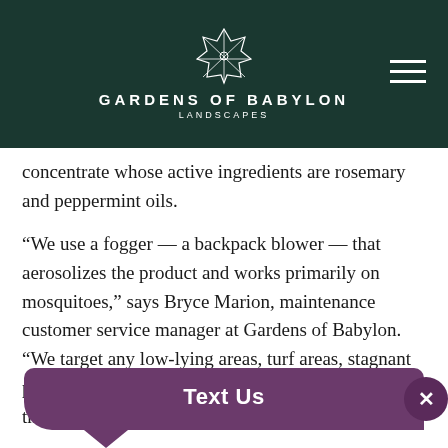[Figure (logo): Gardens of Babylon Landscapes logo with geometric star/diamond shape and navigation hamburger icon on dark green background]
concentrate whose active ingredients are rosemary and peppermint oils.
“We use a fogger — a backpack blower — that aerosolizes the product and works primarily on mosquitoes,” says Bryce Marion, maintenance customer service manager at Gardens of Babylon. “We target any low-lying areas, turf areas, stagnant pools. We treat the beds and the turf, and we spray the greenery, where the bugs are going to rest.”
How much an area depends on the sever the problem, Marion